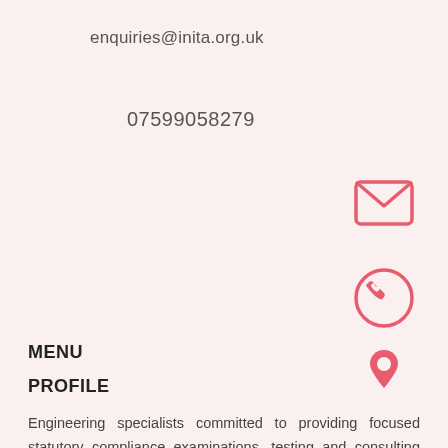enquiries@inita.org.uk
07599058279
[Figure (infographic): Three contact icons arranged vertically: envelope/email icon, phone icon, and location pin icon, all in red/salmon color]
MENU
PROFILE
Engineering specialists committed to providing focused statutory compliance examinations, testing and consulting services, designed to improve both standards of engineering plant maintenance and safety in the workplace.